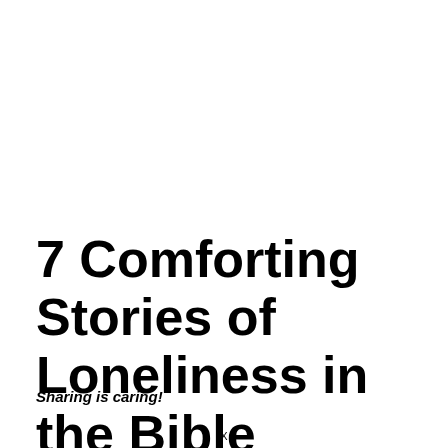7 Comforting Stories of Loneliness in the Bible
Sharing is caring!
X